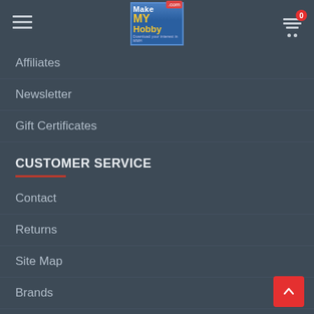[Figure (logo): Make My Hobby .com logo — colorful text logo with yellow and blue colors]
Affiliates
Newsletter
Gift Certificates
CUSTOMER SERVICE
Contact
Returns
Site Map
Brands
LATEST NEWS
Betta (Fighter Fish) Types on MMH
07 Apr  38